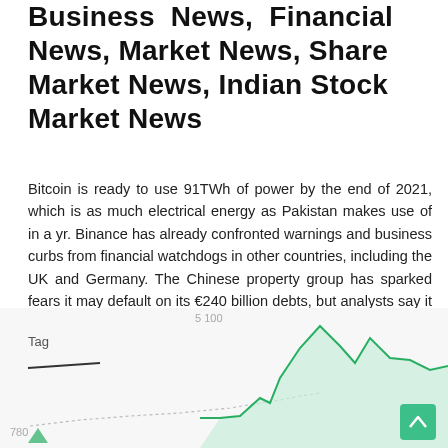Business News, Financial News, Market News, Share Market News, Indian Stock Market News
Bitcoin is ready to use 91TWh of power by the end of 2021, which is as much electrical energy as Pakistan makes use of in a yr. Binance has already confronted warnings and business curbs from financial watchdogs in other countries, including the UK and Germany. The Chinese property group has sparked fears it may default on its €240 billion debts, but analysts say it is unlikely to trigger a global crisis. It is the first major social network to encourage cryptocurrencies as a way of cost.
[Figure (line-chart): Partial line chart visible at bottom of page showing a green area/line chart with values around 780-5100 range, with 'Tag' label and y-axis markers at 780 and 5 100]